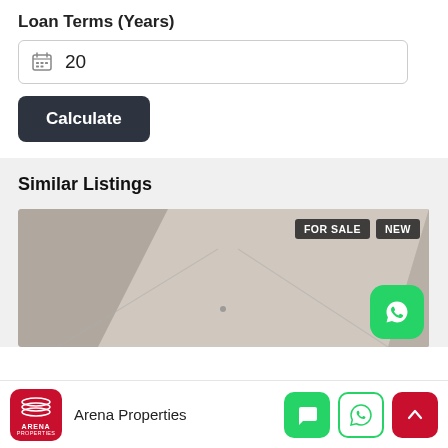Loan Terms (Years)
20
Calculate
Similar Listings
[Figure (photo): Interior room ceiling photo with FOR SALE and NEW badges, and a WhatsApp floating button]
Arena Properties